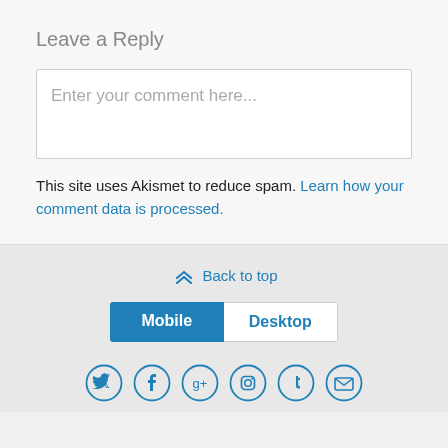Leave a Reply
[Figure (screenshot): Comment text input box with placeholder text 'Enter your comment here...']
This site uses Akismet to reduce spam. Learn how your comment data is processed.
[Figure (screenshot): Back to top link with chevron icon, Mobile/Desktop toggle bar, and social media icons (Twitter, Facebook, Google+, Instagram, Tumblr, Email)]